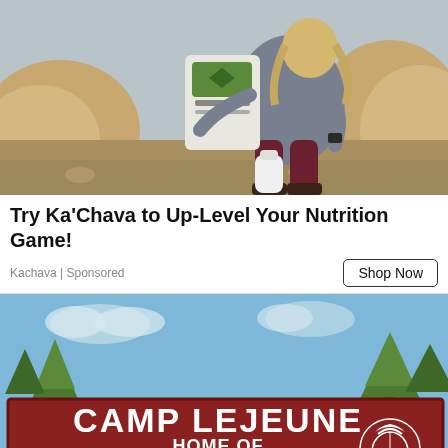[Figure (photo): Woman crouching outdoors in rocky desert landscape, holding a bag of Ka'Chava meal replacement powder and a white bottle/shaker]
Try Ka'Chava to Up-Level Your Nutrition Game!
Kachava | Sponsored
Shop Now
[Figure (photo): Illustrated/graphic image of Camp Lejeune entrance sign reading 'CAMP LEJEUNE HOME OF EXPEDITIONARY FORCES IN READINESS' with US Marine Corps eagle globe and anchor emblem, surrounded by illustrated pine trees on a blue sky background]